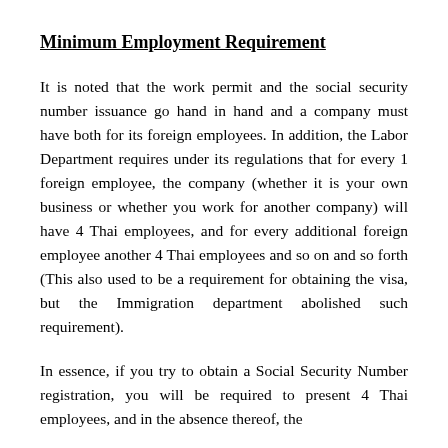Minimum Employment Requirement
It is noted that the work permit and the social security number issuance go hand in hand and a company must have both for its foreign employees. In addition, the Labor Department requires under its regulations that for every 1 foreign employee, the company (whether it is your own business or whether you work for another company) will have 4 Thai employees, and for every additional foreign employee another 4 Thai employees and so on and so forth (This also used to be a requirement for obtaining the visa, but the Immigration department abolished such requirement).
In essence, if you try to obtain a Social Security Number registration, you will be required to present 4 Thai employees, and in the absence thereof, the